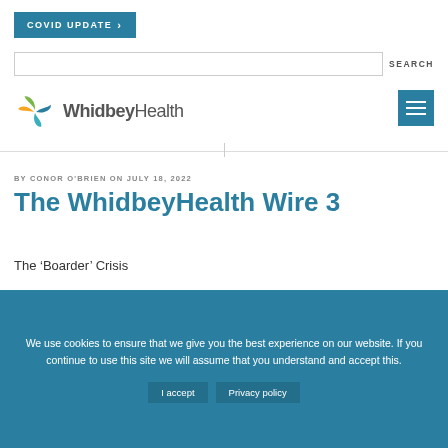COVID UPDATE >
SEARCH
[Figure (logo): WhidbeyHealth logo with colorful leaf/pinwheel icon and text 'WhidbeyHealth']
BY CONOR O'BRIEN ON JULY 18, 2022
The WhidbeyHealth Wire 3
The ‘Boarder’ Crisis
We use cookies to ensure that we give you the best experience on our website. If you continue to use this site we will assume that you understand and accept this.
I accept   Privacy policy